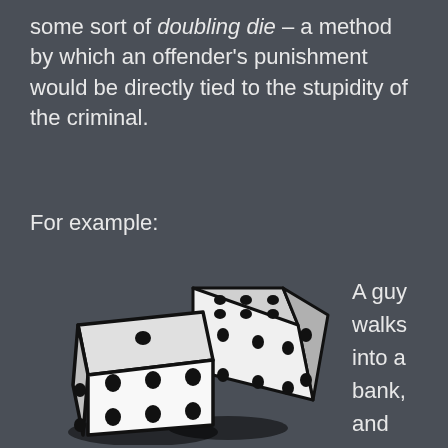some sort of doubling die – a method by which an offender's punishment would be directly tied to the stupidity of the criminal.
For example:
[Figure (illustration): Two white dice with black dots, shown in an isometric/3D perspective with shadows beneath them.]
A guy walks into a bank, and writes a